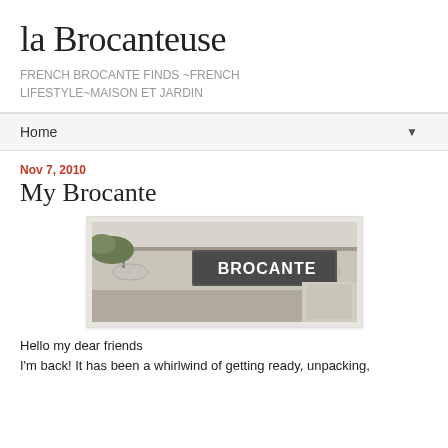la Brocanteuse
FRENCH BROCANTE FINDS ~FRENCH LIFESTYLE~MAISON ET JARDIN
Home ▼
Nov 7, 2010
My Brocante
[Figure (photo): Outdoor brocante market scene showing a sign reading BROCANTE with chandeliers hanging beneath a tent or canopy structure]
Hello my dear friends
I'm back! It has been a whirlwind of getting ready, unpacking,